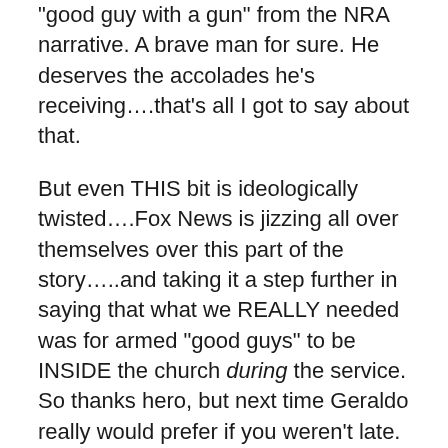“good guy with a gun” from the NRA narrative. A brave man for sure. He deserves the accolades he’s receiving….that’s all I got to say about that.
But even THIS bit is ideologically twisted….Fox News is jizzing all over themselves over this part of the story…..and taking it a step further in saying that what we REALLY needed was for armed “good guys” to be INSIDE the church during the service. So thanks hero, but next time Geraldo really would prefer if you weren’t late. Because you didn’t show up until after they were all dead.
(Just wait for the armed-carry goons to start volunteering to pass along the collection plate in a church near you. See how safe you feel when that dangling shoulder-holster hits you in the face, bubba.)
A country musician named Caleb Keeter was part of the